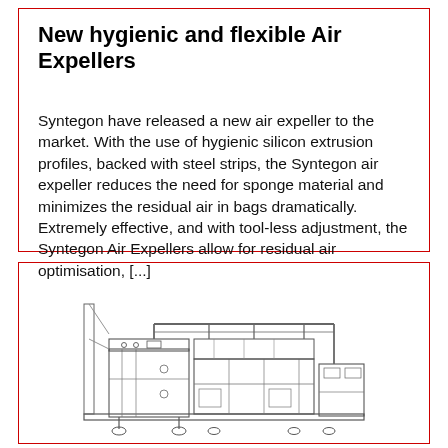New hygienic and flexible Air Expellers
Syntegon have released a new air expeller to the market. With the use of hygienic silicon extrusion profiles, backed with steel strips, the Syntegon air expeller reduces the need for sponge material and minimizes the residual air in bags dramatically. Extremely effective, and with tool-less adjustment, the Syntegon Air Expellers allow for residual air optimisation, [...]
[Figure (photo): Industrial packaging machine — line drawing / illustration of a Syntegon air expeller machine unit]